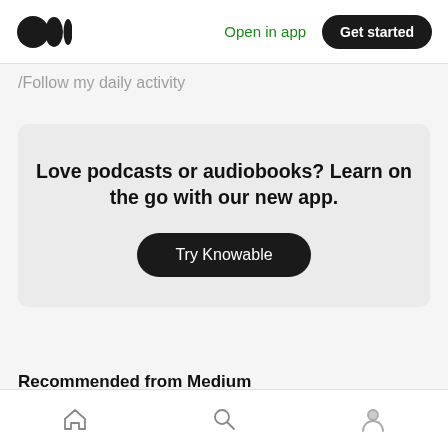Medium logo | Open in app | Get started
/Follow my daily activity
Love podcasts or audiobooks? Learn on the go with our new app.
Try Knowable
Recommended from Medium
Home | Search | Profile